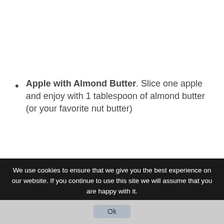Apple with Almond Butter. Slice one apple and enjoy with 1 tablespoon of almond butter (or your favorite nut butter)
[Figure (photo): Photo of a dark chocolate bar or similar dark food item lying on green grass, viewed from above at an angle.]
We use cookies to ensure that we give you the best experience on our website. If you continue to use this site we will assume that you are happy with it.